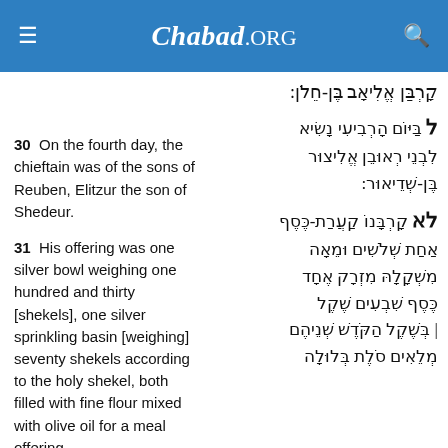Chabad.ORG
קָרְבַּן אֱלִיאָב בֶּן-חֵלֹן:
30  On the fourth day, the chieftain was of the sons of Reuben, Elitzur the son of Shedeur.
ל בַּיּוֹם הָרְבִיעִי נָשִׂיא לִבְנֵי רְאוּבֵן אֱלִיצוּר בֶּן-שְׁדֵיאוּר:
31  His offering was one silver bowl weighing one hundred and thirty [shekels], one silver sprinkling basin [weighing] seventy shekels according to the holy shekel, both filled with fine flour mixed with olive oil for a meal offering.
לא קָרְבָּנוֹ קַעֲרַת-כֶּסֶף אַחַת שְׁלֹשִׁים וּמֵאָה מִשְׁקָלָהּ מִזְרָק אֶחָד כֶּסֶף שִׁבְעִים שֶׁקֶל בְּשֶׁקֶל הַקֹּדֶשׁ שְׁנֵיהֶם מְלֵאִים סֹלֶת בְּלוּלָה